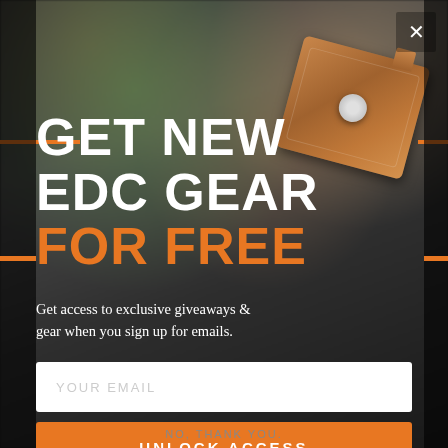[Figure (screenshot): Email signup modal popup overlay for an EDC (Every Day Carry) gear website. Dark/asphalt background with a blurred photo showing a leather card wallet and a hand holding gear. Modal contains a large headline, subtitle, email input field, and orange CTA button.]
GET NEW EDC GEAR FOR FREE
Get access to exclusive giveaways & gear when you sign up for emails.
YOUR EMAIL
UNLOCK ACCESS
NO, THANK YOU.